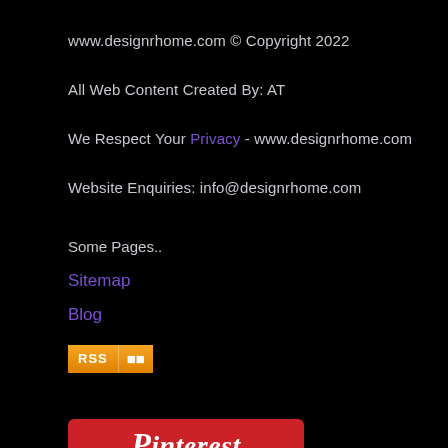www.designrhome.com © Copyright 2022
All Web Content Created By: AT
We Respect Your Privacy - www.designrhome.com
Website Enquiries: info@designrhome.com
Some Pages..
Sitemap
Blog
[Figure (logo): RSS feed orange badge with RSS text and feed icon]
[Figure (logo): Pinterest logo badge — red background with Pinterest in italic white script]